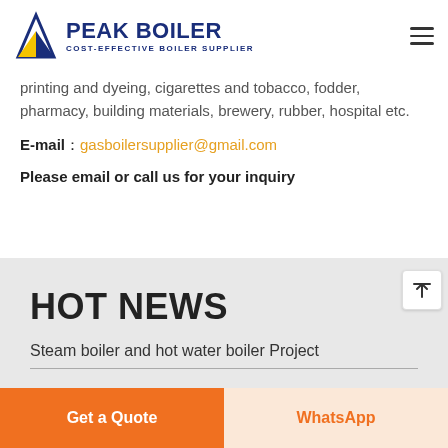PEAK BOILER — COST-EFFECTIVE BOILER SUPPLIER
printing and dyeing, cigarettes and tobacco, fodder, pharmacy, building materials, brewery, rubber, hospital etc.
E-mail: gasboilersupplier@gmail.com
Please email or call us for your inquiry
HOT NEWS
Steam boiler and hot water boiler Project
Get a Quote
WhatsApp